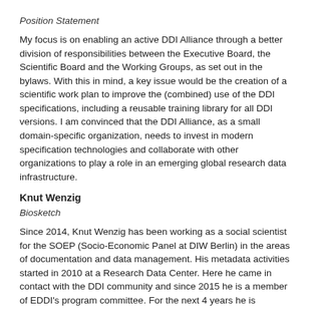Position Statement
My focus is on enabling an active DDI Alliance through a better division of responsibilities between the Executive Board, the Scientific Board and the Working Groups, as set out in the bylaws. With this in mind, a key issue would be the creation of a scientific work plan to improve the (combined) use of the DDI specifications, including a reusable training library for all DDI versions. I am convinced that the DDI Alliance, as a small domain-specific organization, needs to invest in modern specification technologies and collaborate with other organizations to play a role in an emerging global research data infrastructure.
Knut Wenzig
Biosketch
Since 2014, Knut Wenzig has been working as a social scientist for the SOEP (Socio-Economic Panel at DIW Berlin) in the areas of documentation and data management. His metadata activities started in 2010 at a Research Data Center. Here he came in contact with the DDI community and since 2015 he is a member of EDDI's program committee. For the next 4 years he is